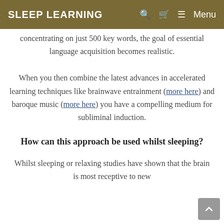SLEEP LEARNING
concentrating on just 500 key words, the goal of essential language acquisition becomes realistic. When you then combine the latest advances in accelerated learning techniques like brainwave entrainment (more here) and baroque music (more here) you have a compelling medium for subliminal induction.
How can this approach be used whilst sleeping?
Whilst sleeping or relaxing studies have shown that the brain is most receptive to new